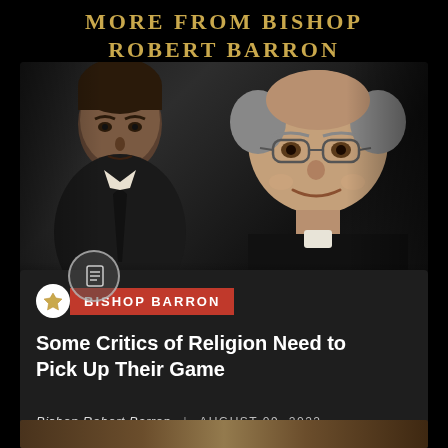MORE FROM BISHOP ROBERT BARRON
[Figure (photo): Two men against a dark background: a younger man in a suit on the left, and an older man with glasses wearing a clerical collar on the right (Bishop Robert Barron). A document/article icon circle overlay is visible on the lower left of the photo.]
BISHOP BARRON
Some Critics of Religion Need to Pick Up Their Game
Bishop Robert Barron | AUGUST 09, 2022
[Figure (photo): Partial bottom strip showing a golden/amber colored image, partially visible at the bottom of the page.]